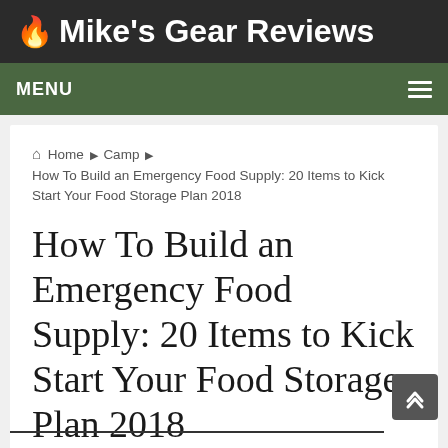🔥 Mike's Gear Reviews
MENU
Home ▶ Camp ▶ How To Build an Emergency Food Supply: 20 Items to Kick Start Your Food Storage Plan 2018
How To Build an Emergency Food Supply: 20 Items to Kick Start Your Food Storage Plan 2018
Camp, Gear Reviews